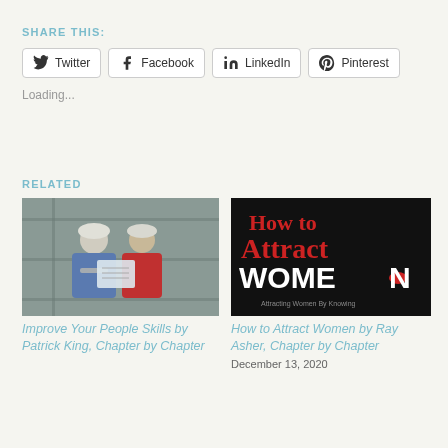SHARE THIS:
Twitter  Facebook  LinkedIn  Pinterest
Loading...
RELATED
[Figure (photo): Two construction workers in hard hats looking at blueprints]
Improve Your People Skills by Patrick King, Chapter by Chapter
[Figure (illustration): Book cover: How to Attract Women by Ray Asher, red and white text on black background]
How to Attract Women by Ray Asher, Chapter by Chapter
December 13, 2020